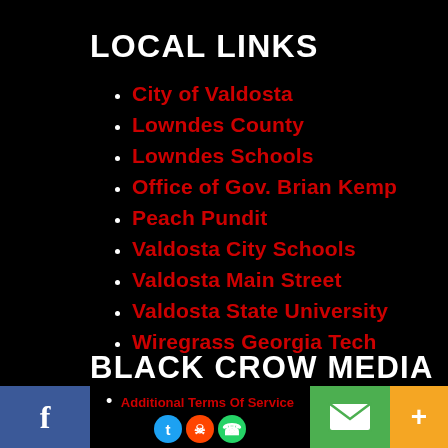LOCAL LINKS
City of Valdosta
Lowndes County
Lowndes Schools
Office of Gov. Brian Kemp
Peach Pundit
Valdosta City Schools
Valdosta Main Street
Valdosta State University
Wiregrass Georgia Tech
BLACK CROW MEDIA
Additional Terms Of Service